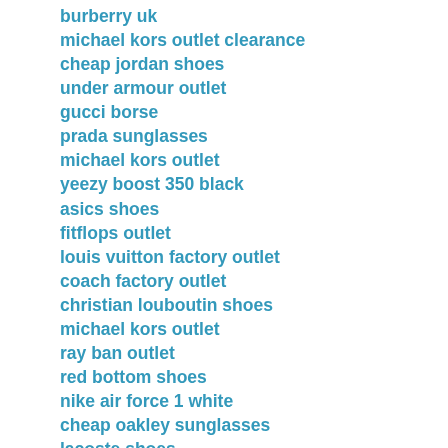burberry uk
michael kors outlet clearance
cheap jordan shoes
under armour outlet
gucci borse
prada sunglasses
michael kors outlet
yeezy boost 350 black
asics shoes
fitflops outlet
louis vuitton factory outlet
coach factory outlet
christian louboutin shoes
michael kors outlet
ray ban outlet
red bottom shoes
nike air force 1 white
cheap oakley sunglasses
lacoste shoes
lebron james shoes
adidas superstar
michael kors outlet